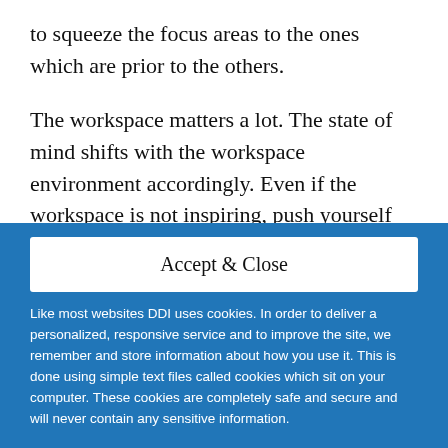to squeeze the focus areas to the ones which are prior to the others.
The workspace matters a lot. The state of mind shifts with the workspace environment accordingly. Even if the workspace is not inspiring, push yourself up for work by putting an extra effort into it. Another great thing is,
Accept & Close
Like most websites DDI uses cookies. In order to deliver a personalized, responsive service and to improve the site, we remember and store information about how you use it. This is done using simple text files called cookies which sit on your computer. These cookies are completely safe and secure and will never contain any sensitive information.